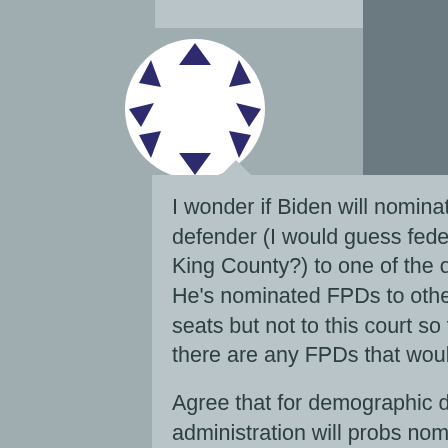[Figure (logo): A circular avatar/logo with a white star shape on a white circle background, surrounded by dark navy blue triangles arranged around the perimeter]
I wonder if Biden will nominate a public defender (I would guess federal, but maybe King County?) to one of the open WDWA seats. He's nominated FPDs to other district court seats but not to this court so far – I don't know if there are any FPDs that would be a good fit?
Agree that for demographic diversity, the administration will probs nominate at least one Black candidate. WDWA is becoming quite the diverse court (at least demographically) as a result of these new Biden nominations, though I agree that Estudillo was not ideal.